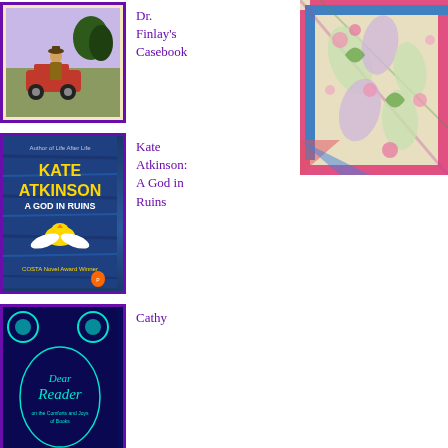[Figure (illustration): Book cover for Dr. Finlay's Casebook with illustrated figure and car]
Dr. Finlay's Casebook
[Figure (illustration): Book cover for Kate Atkinson: A God in Ruins, blue wood-grain background with yellow bird]
Kate Atkinson: A God in Ruins
[Figure (illustration): Book cover for Dear Reader by Cathy Rentzenbrink, dark blue background with teal decorative illustration]
Cathy
[Figure (illustration): Colorful embroidered or illustrated quilt/textile with floral patterns in pink, green, and blue]
- which drove me half out of my min

Love from us both,

Bill
William Maxwell to Eudora Welt
to say we have said.
I love William Maxwell's enthusia